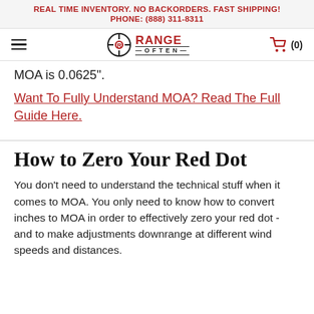REAL TIME INVENTORY. NO BACKORDERS. FAST SHIPPING!
PHONE: (888) 311-8311
[Figure (logo): Range Often logo with crosshair/target icon, red R and text 'RANGE OFTEN', plus hamburger menu and shopping cart]
MOA is 0.0625".
Want To Fully Understand MOA? Read The Full Guide Here.
How to Zero Your Red Dot
You don't need to understand the technical stuff when it comes to MOA. You only need to know how to convert inches to MOA in order to effectively zero your red dot - and to make adjustments downrange at different wind speeds and distances.